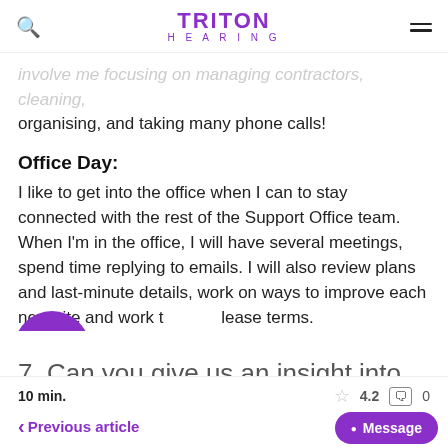TRITON HEARING
involve me focusing on managing contractors, cleaning, organising, and taking many phone calls!
Office Day:
I like to get into the office when I can to stay connected with the rest of the Support Office team. When I'm in the office, I will have several meetings, spend time replying to emails. I will also review plans and last-minute details, work on ways to improve each new site and work through lease terms.
7. Can you give us an insight into what
10 min.  4.2  0  < Previous article  Ne...  Message